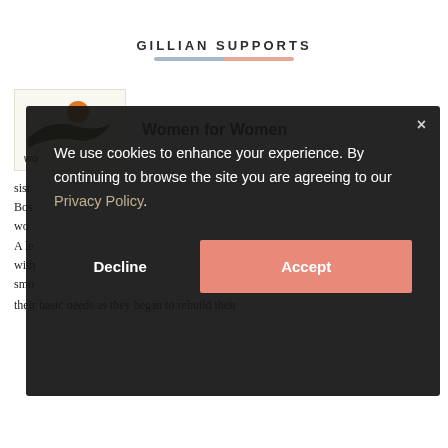GILLIAN SUPPORTS
[Figure (logo): Women for Women International logo — olive/dark green wing shape with orange circle above, partial text 'wo' visible below]
Women for Women
sist... Bos... wo... A le... with... smo... their basic needs as they began to rebuild their
We use cookies to enhance your experience. By continuing to browse the site you are agreeing to our Privacy Policy.
Decline
Accept